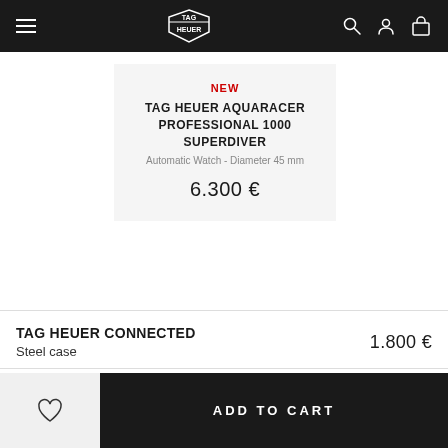TAG HEUER navigation bar
NEW
TAG HEUER AQUARACER PROFESSIONAL 1000 SUPERDIVER
Automatic Watch - Diameter 45 mm
6.300 €
TAG HEUER CONNECTED
Steel case
1.800 €
ADD TO CART